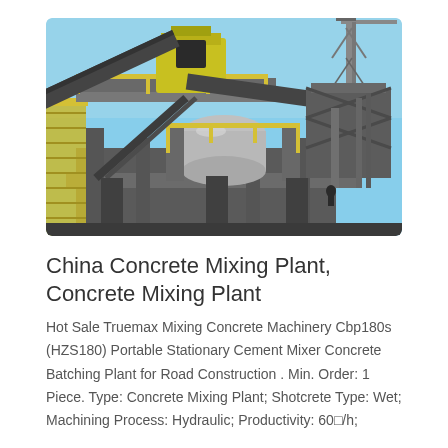[Figure (photo): Photograph of a large industrial concrete mixing plant / batching plant facility. Heavy steel structural framework supports elevated conveyor belts, a central mixing drum, and access platforms with yellow safety railings. Construction crane visible in background on right. Blue sky backdrop.]
China Concrete Mixing Plant, Concrete Mixing Plant
Hot Sale Truemax Mixing Concrete Machinery Cbp180s (HZS180) Portable Stationary Cement Mixer Concrete Batching Plant for Road Construction . Min. Order: 1 Piece. Type: Concrete Mixing Plant; Shotcrete Type: Wet; Machining Process: Hydraulic; Productivity: 60□/h;